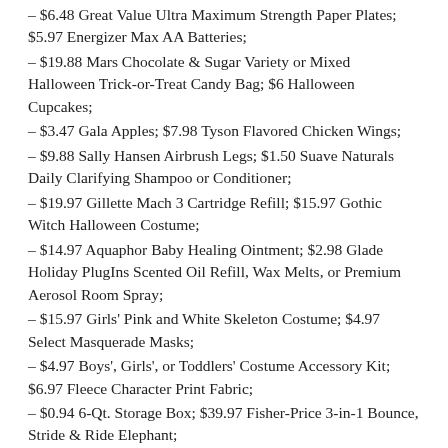– $6.48 Great Value Ultra Maximum Strength Paper Plates; $5.97 Energizer Max AA Batteries;
– $19.88 Mars Chocolate & Sugar Variety or Mixed Halloween Trick-or-Treat Candy Bag; $6 Halloween Cupcakes;
– $3.47 Gala Apples; $7.98 Tyson Flavored Chicken Wings;
– $9.88 Sally Hansen Airbrush Legs; $1.50 Suave Naturals Daily Clarifying Shampoo or Conditioner;
– $19.97 Gillette Mach 3 Cartridge Refill; $15.97 Gothic Witch Halloween Costume;
– $14.97 Aquaphor Baby Healing Ointment; $2.98 Glade Holiday PlugIns Scented Oil Refill, Wax Melts, or Premium Aerosol Room Spray;
– $15.97 Girls' Pink and White Skeleton Costume; $4.97 Select Masquerade Masks;
– $4.97 Boys', Girls', or Toddlers' Costume Accessory Kit; $6.97 Fleece Character Print Fabric;
– $0.94 6-Qt. Storage Box; $39.97 Fisher-Price 3-in-1 Bounce, Stride & Ride Elephant;